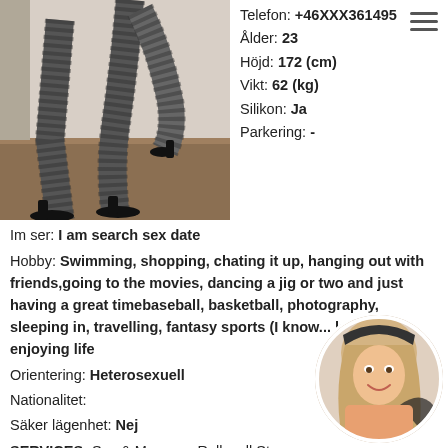[Figure (photo): Photo of legs in fishnet stockings and black high heels]
Telefon: +46XXX361495
Ålder: 23
Höjd: 172 (cm)
Vikt: 62 (kg)
Silikon: Ja
Parkering: -
Im ser: I am search sex date
Hobby: Swimming, shopping, chating it up, hanging out with friends,going to the movies, dancing a jig or two and just having a great timebaseball, basketball, photography, sleeping in, travelling, fantasy sports (I know... lame), and enjoying life
Orientering: Heterosexuell
Nationalitet:
Säker lägenhet: Nej
SERVICES: Sex & Massage Rollspell St... Oralsex utan kondom (OWO) Hard dominant...p-on Analsex Belly Beie... Fefe... det... flickör...
[Figure (photo): Circular portrait photo of a blonde woman smiling]